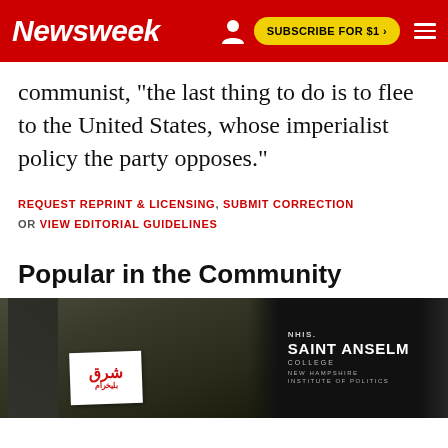Newsweek | SUBSCRIBE FOR $1 >
communist, "the last thing to do is to flee to the United States, whose imperialist policy the party opposes."
REQUEST REPRINT & LICENSING, SUBMIT CORRECTION OR VIEW EDITORIAL GUIDELINES
Popular in the Community
[Figure (photo): Left: protest crowd photo with person holding a newspaper with Arabic/Persian text and red graphic. Right: Saint Anselm College New Hampshire Institute of Politics backdrop with a speaker visible.]